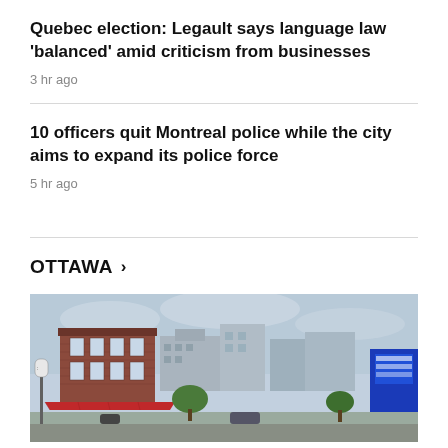Quebec election: Legault says language law 'balanced' amid criticism from businesses
3 hr ago
10 officers quit Montreal police while the city aims to expand its police force
5 hr ago
OTTAWA >
[Figure (photo): Street scene in Ottawa showing brick buildings, storefronts with red awnings, city skyline in background under overcast sky]